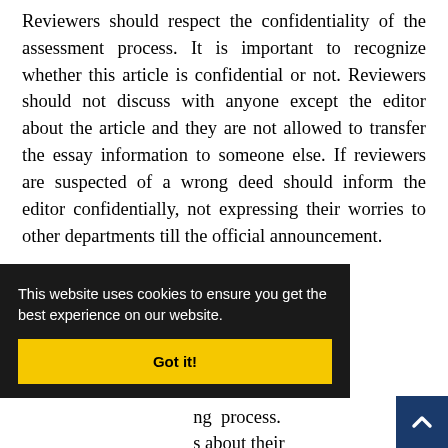Reviewers should respect the confidentiality of the assessment process. It is important to recognize whether this article is confidential or not. Reviewers should not discuss with anyone except the editor about the article and they are not allowed to transfer the essay information to someone else. If reviewers are suspected of a wrong deed should inform the editor confidentially, not expressing their worries to other departments till the official announcement.
Precision
...ations to the ...s know that ...ng process. ...s about their ...t to de... and support their scientific review sufficiently an...
[Figure (other): Cookie consent overlay with dark background reading 'This website uses cookies to ensure you get the best experience on our website.' with a yellow 'Got it!' button. A dark blue back-to-top arrow button is visible in the bottom right corner.]